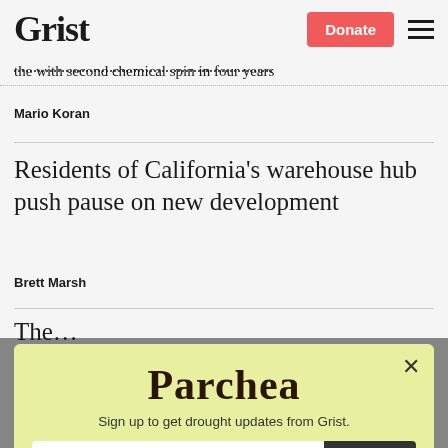Grist | Donate
the with second chemical spin in four years
Mario Koran
Residents of California's warehouse hub push pause on new development
Brett Marsh
The...
[Figure (other): Parchea modal popup with email signup. Title: Parchea. Subtitle: Sign up to get drought updates from Grist. Email input field with placeholder 'Enter your email' and SIGN UP button. No thanks link at bottom.]